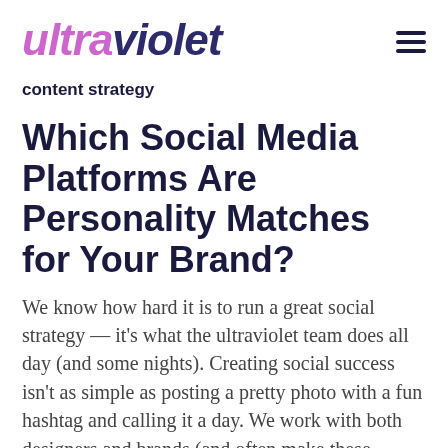ultraviolet
content strategy
Which Social Media Platforms Are Personality Matches for Your Brand?
We know how hard it is to run a great social strategy — it's what the ultraviolet team does all day (and some nights). Creating social success isn't as simple as posting a pretty photo with a fun hashtag and calling it a day. We work with both designers and brands (and often make these